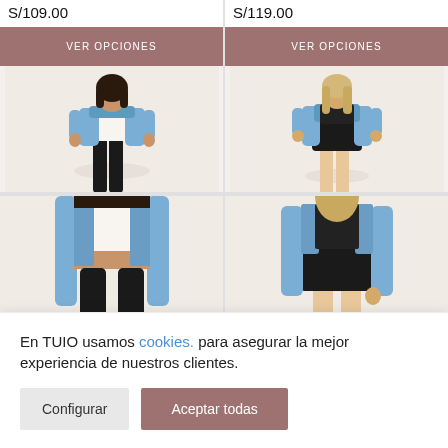S/109.00
VER OPCIONES
S/119.00
VER OPCIONES
[Figure (photo): Female model wearing a denim jacket over a white crop top with black pants, on a light beige background]
[Figure (photo): Female model wearing a denim jacket over a black dress/skirt, on a light beige background]
En TUIO usamos cookies. para asegurar la mejor experiencia de nuestros clientes.
Configurar
Aceptar todas